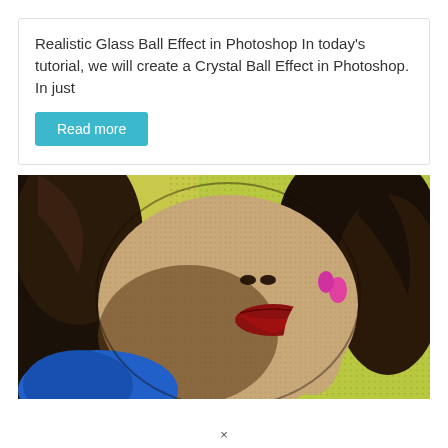Realistic Glass Ball Effect in Photoshop In today's tutorial, we will create a Crystal Ball Effect in Photoshop. In just
Read more
[Figure (photo): A comic-style halftone pop-art image of a woman with dark hair, red lips, and pink nails, hand near her face, on a yellow-green dotted background with blue clothing visible at bottom left.]
×